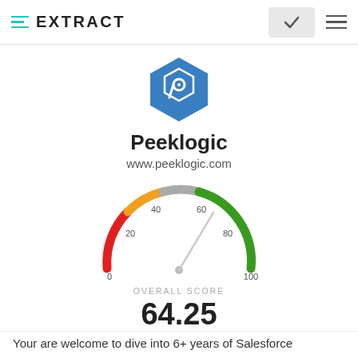EXTRACT
[Figure (logo): Peeklogic hexagonal logo icon in blue with a white 'P' shape inside]
Peeklogic
www.peeklogic.com
[Figure (other): Semicircular gauge/speedometer showing overall score. Scale from 0 to 100 with markers at 0, 20, 40, 60, 80, 100. Color gradient from red (0) through orange/yellow (20-40) through gray (40-60) to green (60-100). Needle points to approximately 64.25.]
OVERALL SCORE
64.25
Your are welcome to dive into 6+ years of Salesforce